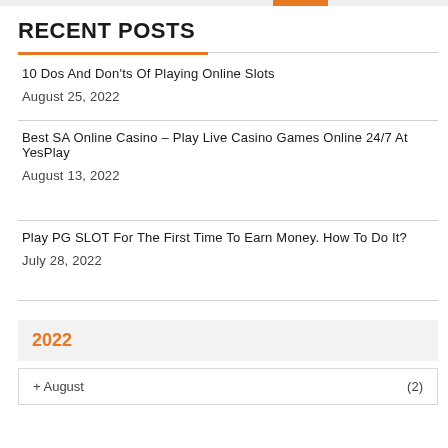RECENT POSTS
10 Dos And Don'ts Of Playing Online Slots
August 25, 2022
Best SA Online Casino – Play Live Casino Games Online 24/7 At YesPlay
August 13, 2022
Play PG SLOT For The First Time To Earn Money. How To Do It?
July 28, 2022
2022
+ August (2)